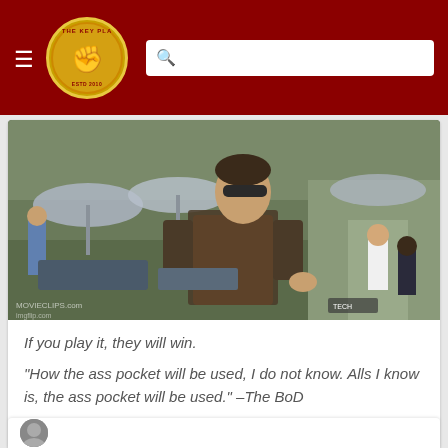The Key Play navigation bar with logo and search
[Figure (screenshot): Screenshot from a movie showing a man in sunglasses and an orange shirt at a marina/dock, with other people and boats in background. Watermark shows MOVIECLIPS.com and imgflip.com]
If you play it, they will win.
"How the ass pocket will be used, I do not know. Alls I know is, the ass pocket will be used." -The BoD
Log in or register to post comments about the Virginia Tech Hokies